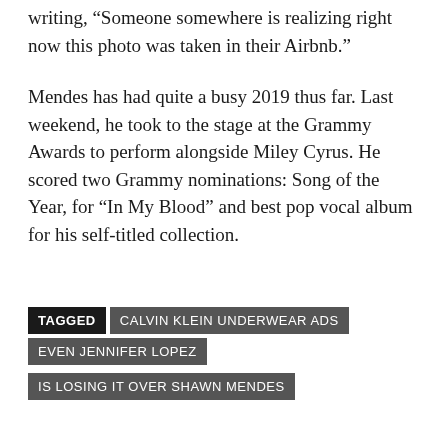writing, “Someone somewhere is realizing right now this photo was taken in their Airbnb.”
Mendes has had quite a busy 2019 thus far. Last weekend, he took to the stage at the Grammy Awards to perform alongside Miley Cyrus. He scored two Grammy nominations: Song of the Year, for “In My Blood” and best pop vocal album for his self-titled collection.
TAGGED CALVIN KLEIN UNDERWEAR ADS EVEN JENNIFER LOPEZ IS LOSING IT OVER SHAWN MENDES